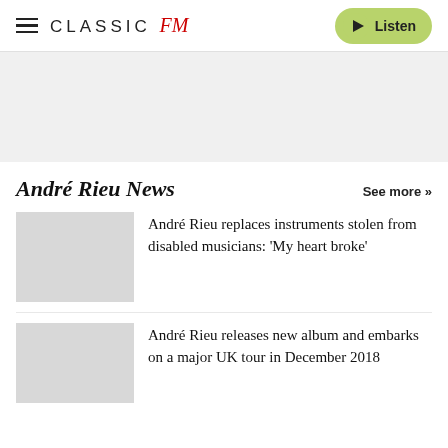Classic FM — Listen
[Figure (other): Grey banner/advertisement area]
André Rieu News
See more »
[Figure (photo): Thumbnail placeholder for news article 1]
André Rieu replaces instruments stolen from disabled musicians: 'My heart broke'
[Figure (photo): Thumbnail placeholder for news article 2]
André Rieu releases new album and embarks on a major UK tour in December 2018